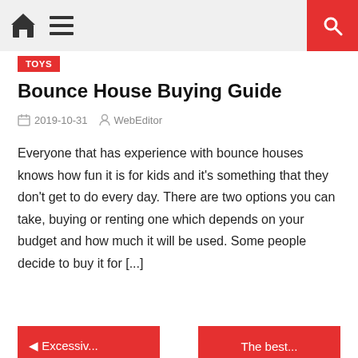Home | Menu | Search
TOYS
Bounce House Buying Guide
2019-10-31  WebEditor
Everyone that has experience with bounce houses knows how fun it is for kids and it's something that they don't get to do every day. There are two options you can take, buying or renting one which depends on your budget and how much it will be used. Some people decide to buy it for [...]
◄ Excessiv...
The best...
Leave a Reply
Your email address will not be published. Required fields a... marked *